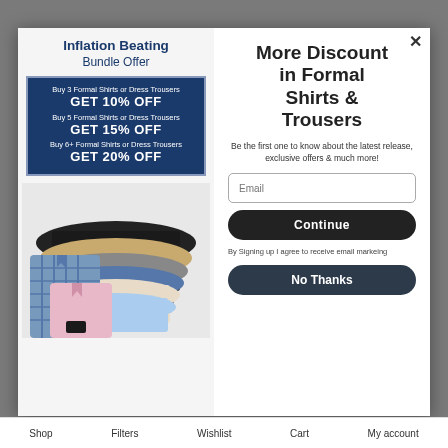Inflation Beating Bundle Offer
Buy 3 Formal Shirts or Dress Trousers GET 10% OFF Buy 5 Formal Shirts or Dress Trousers GET 15% OFF Buy 6+ Formal Shirts or Dress Trousers GET 20% OFF
[Figure (photo): Folded formal shirts and dress trousers in various colors including blue check, pink, black, khaki, and grey]
More Discount in Formal Shirts & Trousers
Be the first one to know about the latest release, exclusive offers & much more!
Email
Continue
By Signing up I agree to receive email markeing
No Thanks
Shop   Filters   Wishlist   Cart   My account